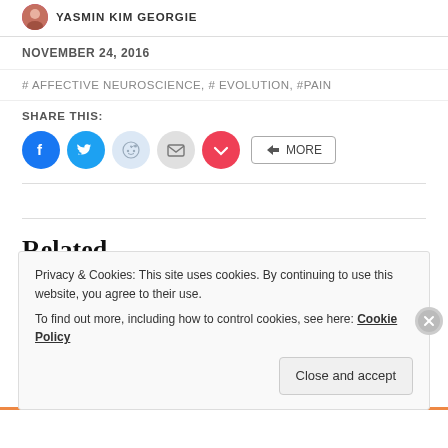YASMIN KIM GEORGIE
NOVEMBER 24, 2016
# AFFECTIVE NEUROSCIENCE, # EVOLUTION, #PAIN
SHARE THIS:
[Figure (infographic): Share buttons: Facebook (blue circle), Twitter (cyan circle), Reddit (light blue circle), Email (grey circle), Pocket (red circle), and a MORE button]
Related
Privacy & Cookies: This site uses cookies. By continuing to use this website, you agree to their use.
To find out more, including how to control cookies, see here: Cookie Policy
Close and accept